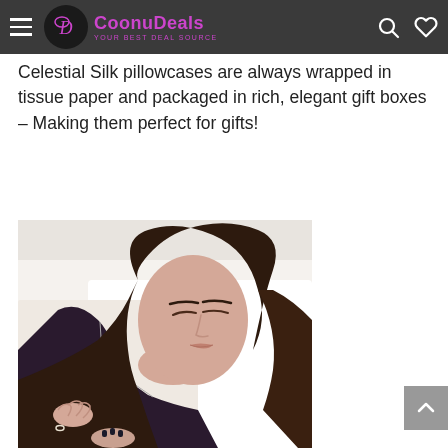CoonuDeals – Your Best Deal Source
Celestial Silk pillowcases are always wrapped in tissue paper and packaged in rich, elegant gift boxes – Making them perfect for gifts!
[Figure (photo): A young woman with dark hair lying on white pillows, eyes closed, wearing a dark pajama top, resting peacefully.]